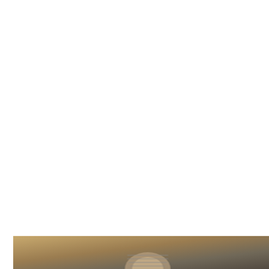[Figure (infographic): Social share bar with Facebook (blue) button, Pinterest (red) button, a share icon with count '0 SHARES', and a Taboola Feed label. Below is a partial photo of what appears to be a light bulb or metallic object.]